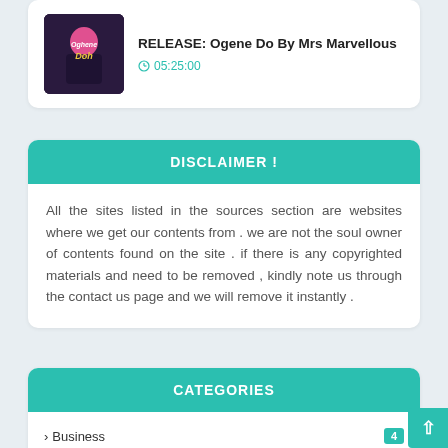RELEASE: Ogene Do By Mrs Marvellous
05:25:00
DISCLAIMER !
All the sites listed in the sources section are websites where we get our contents from . we are not the soul owner of contents found on the site . if there is any copyrighted materials and need to be removed , kindly note us through the contact us page and we will remove it instantly .
CATEGORIES
> Business  4